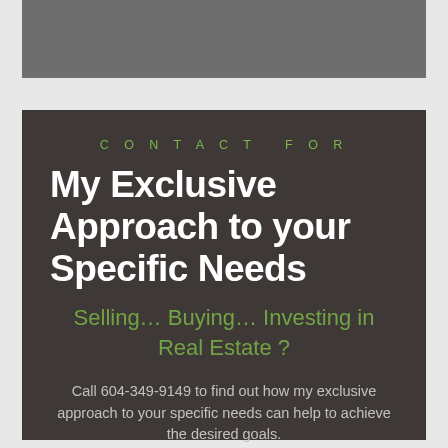[Figure (other): Gray rectangular banner image at the top of the page]
CONTACT FOR
My Exclusive Approach to your Specific Needs
Selling… Buying… Investing in Real Estate ?
Call 604-349-9149 to find out how my exclusive approach to your specific needs can help to achieve the desired goals.